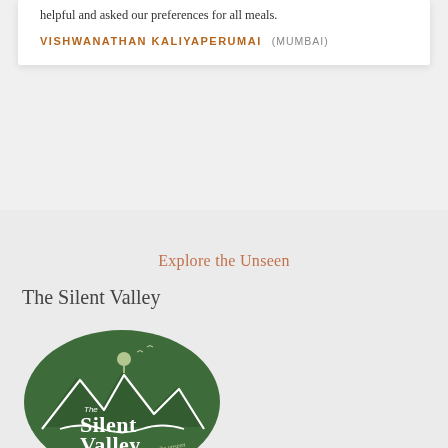helpful and asked our preferences for all meals.
VISHWANATHAN KALIYAPERUMAI (MUMBAI)
Explore the Unseen
The Silent Valley
[Figure (logo): The Silent Valley oval green logo with white mountain silhouette, tree, and text 'The Silent Valley Explore the unseen']